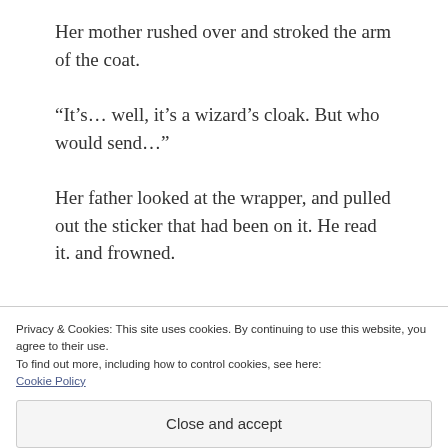Her mother rushed over and stroked the arm of the coat.
“It’s… well, it’s a wizard’s cloak. But who would send…”
Her father looked at the wrapper, and pulled out the sticker that had been on it. He read it. and frowned.
Privacy & Cookies: This site uses cookies. By continuing to use this website, you agree to their use.
To find out more, including how to control cookies, see here:
Cookie Policy
Close and accept
his head.